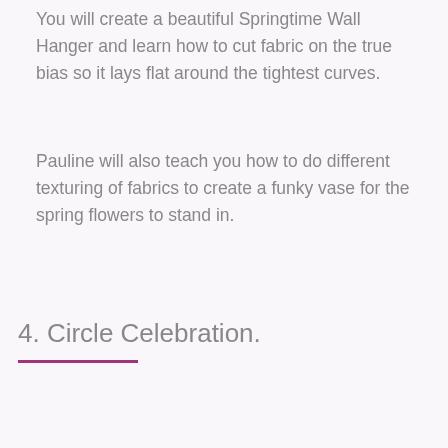You will create a beautiful Springtime Wall Hanger and learn how to cut fabric on the true bias so it lays flat around the tightest curves.
Pauline will also teach you how to do different texturing of fabrics to create a funky vase for the spring flowers to stand in.
4. Circle Celebration.